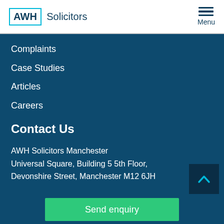AWH Solicitors
Complaints
Case Studies
Articles
Careers
Contact Us
AWH Solicitors Manchester
Universal Square, Building 5 5th Floor,
Devonshire Street, Manchester M12 6JH
Send enquiry